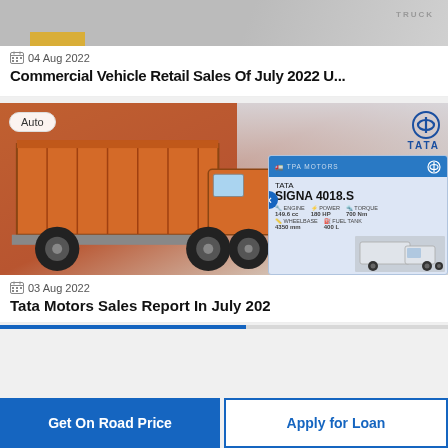[Figure (screenshot): Partial top image of a commercial vehicle article, showing a truck and road scene]
04 Aug 2022
Commercial Vehicle Retail Sales Of July 2022 U...
[Figure (photo): Tata Motors promotional image showing an orange truck with text 'Tata Motors Sales Report in July 2022 43% Increase'. Auto category badge. Overlapping popup showing Tata Signa 4018.S truck spec card.]
03 Aug 2022
Tata Motors Sales Report In July 202
Get On Road Price
Apply for Loan